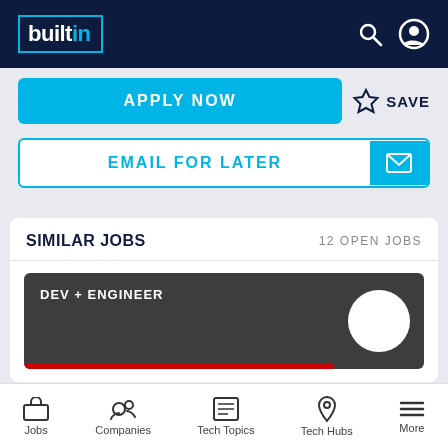builtin — navigation bar with search and profile icons
APPLY NOW
SAVE
EMAIL FOR LATER
SIMILAR JOBS   12 OPEN JOBS
[Figure (other): Job card thumbnail with dark background showing DEV + ENGINEER label, red bar, and white circle company logo]
Senior Full Stack Engineer (Golang)
CORE SCIENTIFIC
Jobs   Companies   Tech Topics   Tech Hubs   More